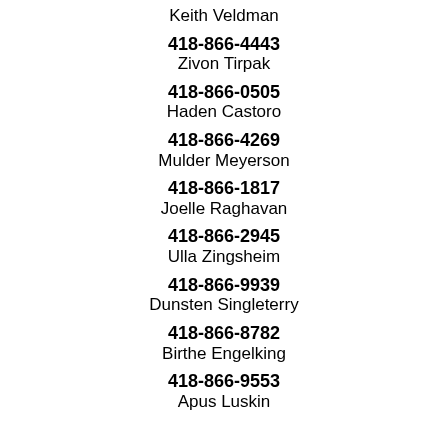Keith Veldman
418-866-4443
Zivon Tirpak
418-866-0505
Haden Castoro
418-866-4269
Mulder Meyerson
418-866-1817
Joelle Raghavan
418-866-2945
Ulla Zingsheim
418-866-9939
Dunsten Singleterry
418-866-8782
Birthe Engelking
418-866-9553
Apus Luskin